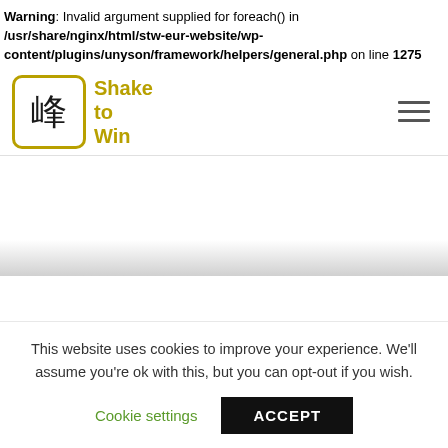Warning: Invalid argument supplied for foreach() in /usr/share/nginx/html/stw-eur-website/wp-content/plugins/unyson/framework/helpers/general.php on line 1275
[Figure (logo): Shake to Win logo: a rounded square border in gold/olive color containing a Chinese character, with 'Shake to Win' text in gold to the right]
[Figure (other): Hamburger menu icon with three horizontal lines]
This website uses cookies to improve your experience. We'll assume you're ok with this, but you can opt-out if you wish.
Cookie settings
ACCEPT